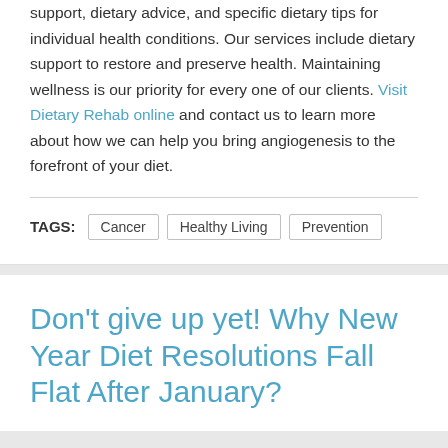support, dietary advice, and specific dietary tips for individual health conditions. Our services include dietary support to restore and preserve health. Maintaining wellness is our priority for every one of our clients. Visit Dietary Rehab online and contact us to learn more about how we can help you bring angiogenesis to the forefront of your diet.
TAGS: Cancer  Healthy Living  Prevention
Don't give up yet! Why New Year Diet Resolutions Fall Flat After January?